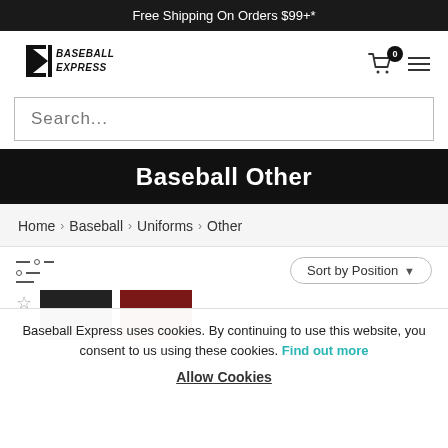Free Shipping On Orders $99+*
[Figure (logo): Baseball Express logo with BE initials and full name]
Search...
Baseball Other
Home > Baseball > Uniforms > Other
Sort by Position
Baseball Express uses cookies. By continuing to use this website, you consent to us using these cookies. Find out more
Allow Cookies